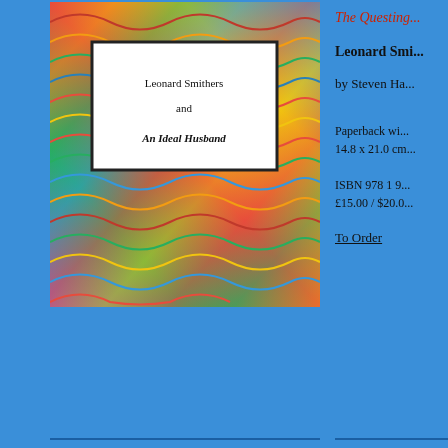[Figure (illustration): Book cover for 'Leonard Smithers and An Ideal Husband' showing a marbled paper background with a white label box in the upper left containing the text 'Leonard Smithers and An Ideal Husband']
The Questing...
Leonard Smi...
by Steven Ha...
Paperback wi... 14.8 x 21.0 cm...
ISBN 978 1 9... £15.00 / $20.0...
To Order